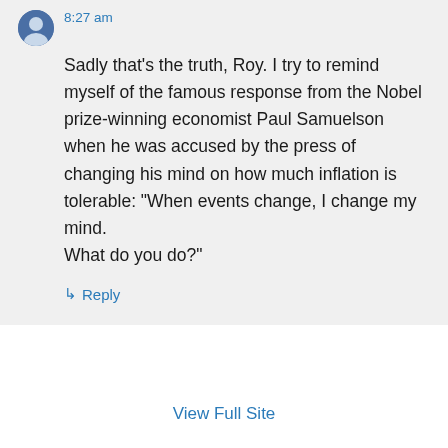8:27 am
Sadly that's the truth, Roy. I try to remind myself of the famous response from the Nobel prize-winning economist Paul Samuelson when he was accused by the press of changing his mind on how much inflation is tolerable: “When events change, I change my mind. What do you do?”
↳ Reply
View Full Site